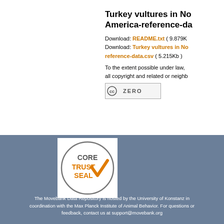Turkey vultures in North America-reference-data
Download: README.txt ( 9.879Kb )
Download: Turkey vultures in North America-reference-data.csv ( 5.215Kb )
To the extent possible under law, all copyright and related or neighboring...
[Figure (logo): Creative Commons Zero (CC0) badge]
[Figure (logo): CoreTrustSeal certification logo with circular design and orange checkmark]
The Movebank Data Repository is hosted by the University of Konstanz in coordination with the Max Planck Institute of Animal Behavior. For questions or feedback, contact us at support@movebank.org